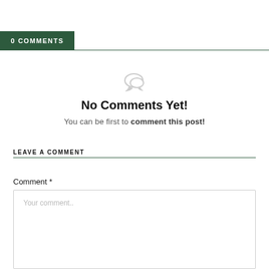0 COMMENTS
[Figure (illustration): Speech bubble / comment icon in light gray]
No Comments Yet!
You can be first to comment this post!
LEAVE A COMMENT
Comment *
Your comment..